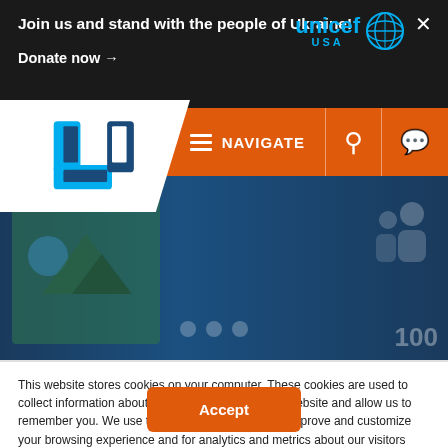Join us and stand with the people of Ukraine!
Donate now →
[Figure (logo): UNICEF USA logo with globe icon in cyan blue]
[Figure (screenshot): Orange navigation bar with U-shaped logo, NAVIGATE menu, search and chat icons]
[Figure (illustration): Dark blue hero banner area with map placeholder and people silhouette icons]
This website stores cookies on your computer. These cookies are used to collect information about how you interact with our website and allow us to remember you. We use this information in order to improve and customize your browsing experience and for analytics and metrics about our visitors both on this website and other media. To find out more about the cookies we use, see our Privacy Policy.
Accept